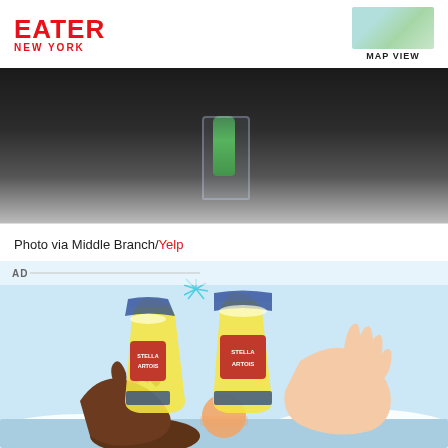EATER NEW YORK | MAP VIEW
[Figure (photo): Dark moody photo of a cocktail glass with green garnish (cucumber or herb), lit from behind, on a white background]
Photo via Middle Branch/Yelp
[Figure (illustration): AD: Stella Artois advertisement illustration showing two hands clinking Stella Artois beer glasses against a light blue sky and sunset background]